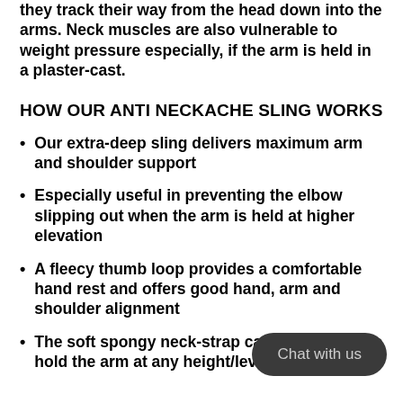they track their way from the head down into the arms. Neck muscles are also vulnerable to weight pressure especially, if the arm is held in a plaster-cast.
HOW OUR ANTI NECKACHE SLING WORKS
Our extra-deep sling delivers maximum arm and shoulder support
Especially useful in preventing the elbow slipping out when the arm is held at higher elevation
A fleecy thumb loop provides a comfortable hand rest and offers good hand, arm and shoulder alignment
The soft spongy neck-strap can be adjusted to hold the arm at any height/level. If the strap is